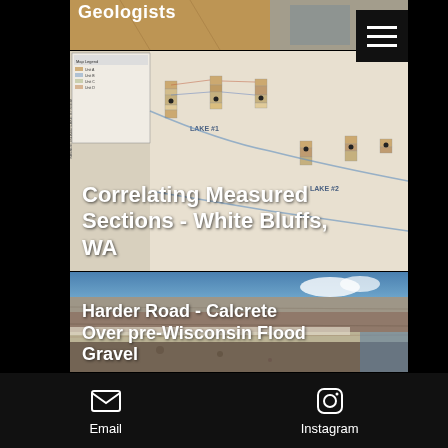[Figure (map): Partial header image of a geological/topographic map with text 'Geologists' visible at top]
[Figure (map): Geological section correlation map of White Bluffs, WA area showing the Savage Island Lake System with stratigraphic columns and correlation lines]
Correlating Measured Sections - White Bluffs, WA
[Figure (photo): Photograph of a rocky cliff face showing calcrete over pre-Wisconsin flood gravel at Harder Road]
Harder Road - Calcrete Over pre-Wisconsin Flood Gravel
[Figure (photo): Partial view of a third image at bottom, partially cropped]
Email   Instagram